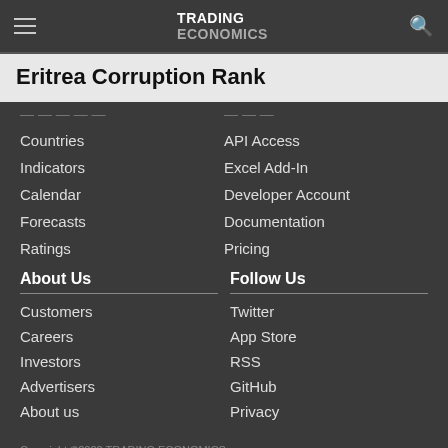TRADING ECONOMICS
Eritrea Corruption Rank
Countries
Indicators
Calendar
Forecasts
Ratings
API Access
Excel Add-In
Developer Account
Documentation
Pricing
About Us
Customers
Careers
Investors
Advertisers
About us
Follow Us
Twitter
App Store
RSS
GitHub
Privacy
Copyright ©2022 TRADING ECONOMICS
All Rights Reserved